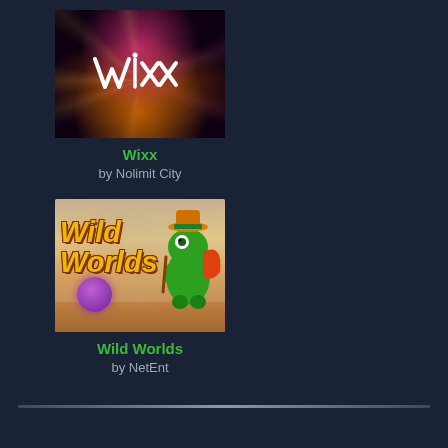[Figure (illustration): Wixx slot game promotional image with dark background, pink/magenta glow at top and golden/orange glow at bottom, with stylized 'Wixx' logo text in center]
Wixx
by Nolimit City
[Figure (illustration): Wild Worlds slot game promotional image showing golden 'Wild Worlds' text logo with a green cartoon superhero frog character on the right side, warm desert/sandy background]
Wild Worlds
by NetEnt